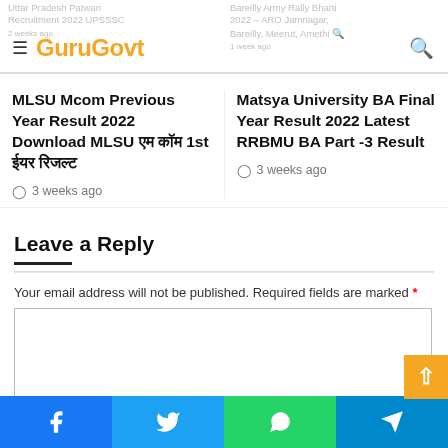GuruGovt
MLSU Mcom Previous Year Result 2022 Download MLSU एम कॉम 1st ईयर रिजल्ट
3 weeks ago
Matsya University BA Final Year Result 2022 Latest RRBMU BA Part -3 Result
3 weeks ago
Leave a Reply
Your email address will not be published. Required fields are marked *